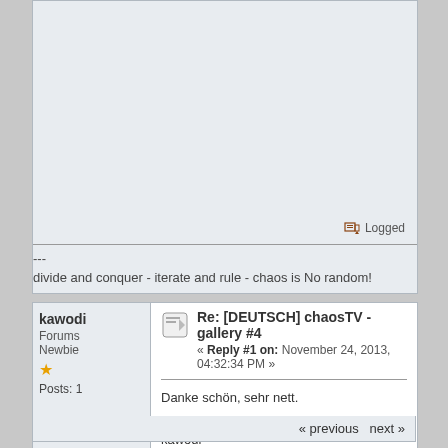Logged
---
divide and conquer - iterate and rule - chaos is No random!
kawodi
Forums Newbie
Posts: 1
Re: [DEUTSCH] chaosTV - gallery #4
« Reply #1 on: November 24, 2013, 04:32:34 PM »
Danke schön, sehr nett.

LG
kawodi
Logged
« previous next »